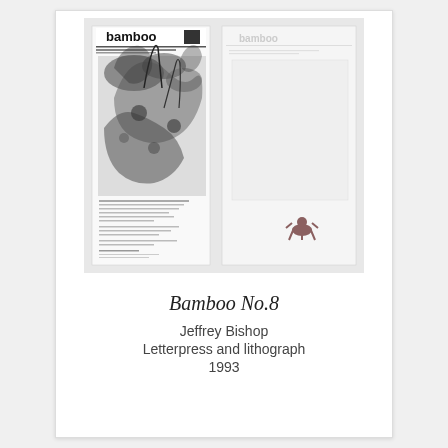[Figure (photo): Photograph of two letterpress and lithograph pages side by side from 'Bamboo No.8'. The left page shows bold 'bamboo' text header with a dense black ink illustration of plants/foliage and text below. The right page is mostly white/light with a small illustrative figure near the bottom.]
Bamboo No.8
Jeffrey Bishop
Letterpress and lithograph
1993